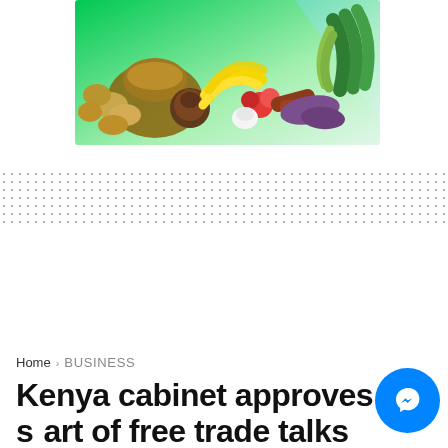[Figure (photo): Banner image of assorted vegetables and fruits (potatoes, bananas, tomatoes, sausages, yams, greens) on a green gradient background]
Home › BUSINESS
Kenya cabinet approves start of free trade talks with the US